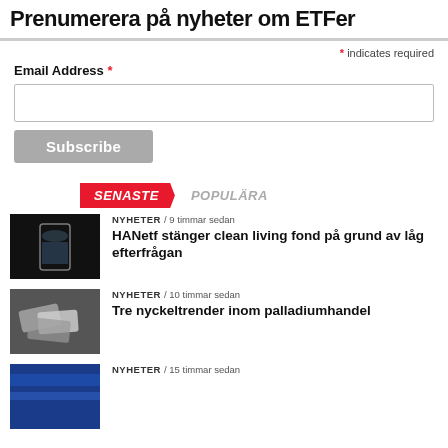Prenumerera på nyheter om ETFer
* indicates required
Email Address *
Subscribe
SENASTE   POPULÄRA
NYHETER / 9 timmar sedan
HANetf stänger clean living fond på grund av låg efterfrågan
NYHETER / 10 timmar sedan
Tre nyckeltrender inom palladiumhandel
NYHETER / 15 timmar sedan